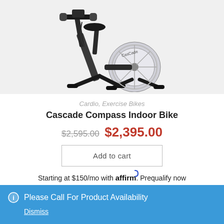[Figure (photo): Cascade Compass Indoor Bike product photo on light gray background]
Cardio, Exercise Bikes
Cascade Compass Indoor Bike
$2,595.00 $2,395.00
Add to cart
Starting at $150/mo with affirm. Prequalify now
Please Call For Product Availability
Dismiss